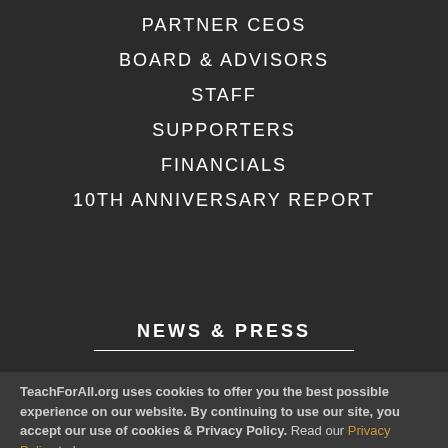PARTNER CEOS
BOARD & ADVISORS
STAFF
SUPPORTERS
FINANCIALS
10TH ANNIVERSARY REPORT
NEWS & PRESS
TeachForAll.org uses cookies to offer you the best possible experience on our website. By continuing to use our site, you accept our use of cookies & Privacy Policy.  Read our Privacy Policy to learn more.
OK